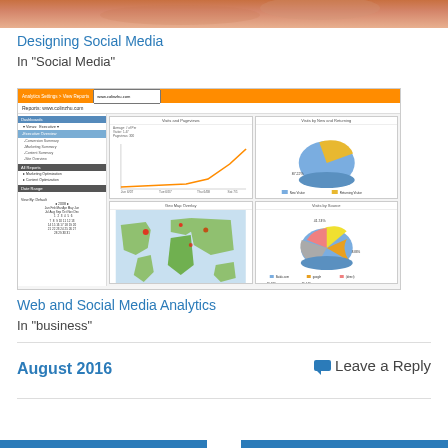[Figure (photo): Top partial image showing skin tones - appears to be a cropped photo]
Designing Social Media
In "Social Media"
[Figure (screenshot): Screenshot of a Google Analytics dashboard showing web analytics reports for www.colinzhu.com, including visits and pageviews line chart, visits by new and returning pie chart, Geo Map Overlay world map, and Visits by Source pie chart]
Web and Social Media Analytics
In "business"
August 2016
Leave a Reply